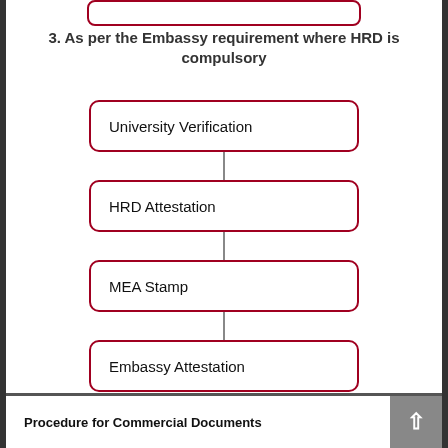3. As per the Embassy requirement where HRD is compulsory
[Figure (flowchart): Flowchart with four sequential steps connected by vertical lines: University Verification → HRD Attestation → MEA Stamp → Embassy Attestation]
Procedure for Commercial Documents